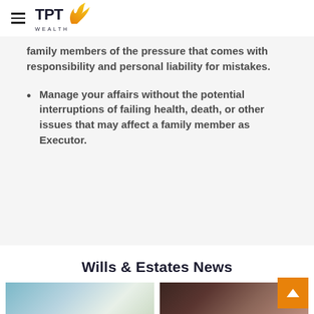TPT Wealth
family members of the pressure that comes with responsibility and personal liability for mistakes.
Manage your affairs without the potential interruptions of failing health, death, or other issues that may affect a family member as Executor.
Wills & Estates News
[Figure (photo): Landscape photo, likely mountains or scenic outdoor scene]
[Figure (photo): Portrait photo of a person writing or signing a document]